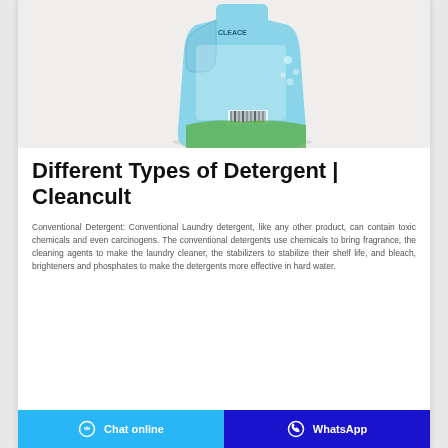[Figure (photo): A light blue laundry detergent bottle (Cleace brand) photographed from the back against a light gray/beige background. The bottle has a handle on top and shows the label with text and a barcode.]
Different Types of Detergent | Cleancult
Conventional Detergent: Conventional Laundry detergent, like any other product, can contain toxic chemicals and even carcinogens. The conventional detergents use chemicals to bring fragrance, the cleaning agents to make the laundry cleaner, the stabilizers to stabilize their shelf life, and bleach, brighteners and phosphates to make the detergents more effective in hard water.
Chat online  |  WhatsApp